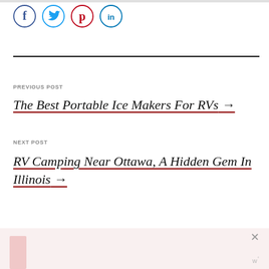[Figure (other): Social share icons: Facebook (blue circle), Twitter (light blue circle), Pinterest (red circle), LinkedIn (blue circle)]
PREVIOUS POST
The Best Portable Ice Makers For RVs →
NEXT POST
RV Camping Near Ottawa, A Hidden Gem In Illinois →
[Figure (other): Bottom advertisement banner with close button (×) and Wordmark logo (w°), partially visible thumbnail on left]